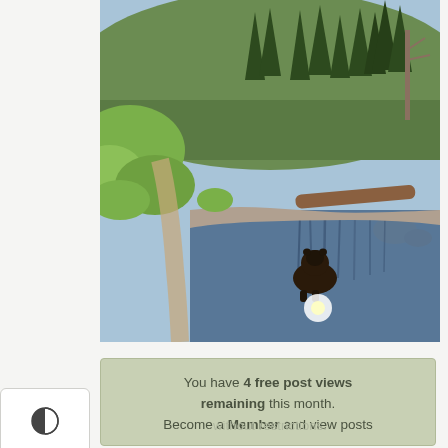[Figure (photo): Outdoor nature photo showing a bear wading in a reflective pond or creek surrounded by trees, with a dirt trail on the left bank. Bright sunlight reflects off the water near the bear. Pine trees and scrubby hillside vegetation visible in background.]
You have 4 free post views remaining this month. Become a Member and view posts without restrictions.